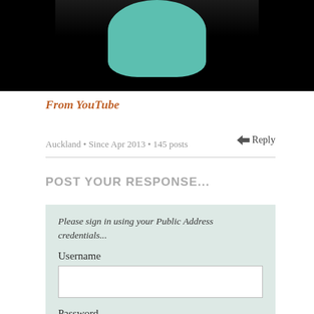[Figure (screenshot): Dark/black video thumbnail with a teal-colored figure visible at top center, representing an embedded YouTube video preview]
From YouTube
Auckland • Since Apr 2013 • 145 posts
Reply
POST YOUR RESPONSE...
Please sign in using your Public Address credentials...
Username
Password
Remember me
SIGN IN